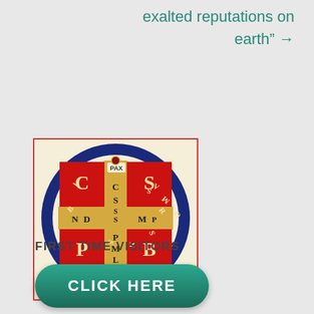exalted reputations on earth" →
[Figure (illustration): Saint Benedict Medal — circular blue border with Latin letters, red cross dividing into quadrants with letters C S P B and N D S M D S M L, gold ornamental cross center, red circular field, text PAX at top]
FIRST TIME VISITORS
CLICK HERE